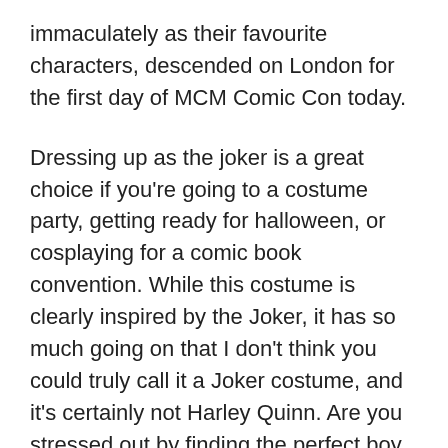immaculately as their favourite characters, descended on London for the first day of MCM Comic Con today.
Dressing up as the joker is a great choice if you're going to a costume party, getting ready for halloween, or cosplaying for a comic book convention. While this costume is clearly inspired by the Joker, it has so much going on that I don't think you could truly call it a Joker costume, and it's certainly not Harley Quinn. Are you stressed out by finding the perfect boy joker costume? We've learned that she kidnapped a boy from a family to raise on her own, which is an intriguing backstory. A Tennessee family with a sense of humor pleaded with their obstetrician to stay in costume as the Joker to deliver their baby.